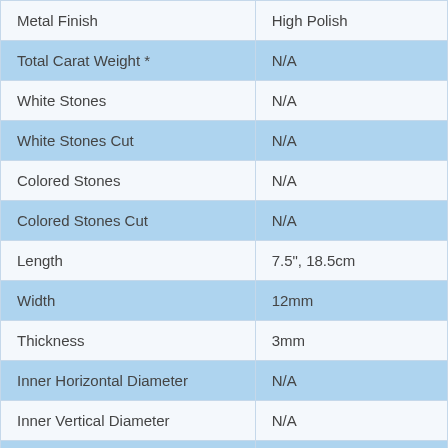| Property | Value |
| --- | --- |
| Metal Finish | High Polish |
| Total Carat Weight * | N/A |
| White Stones | N/A |
| White Stones Cut | N/A |
| Colored Stones | N/A |
| Colored Stones Cut | N/A |
| Length | 7.5", 18.5cm |
| Width | 12mm |
| Thickness | 3mm |
| Inner Horizontal Diameter | N/A |
| Inner Vertical Diameter | N/A |
| Charm Style | N/A |